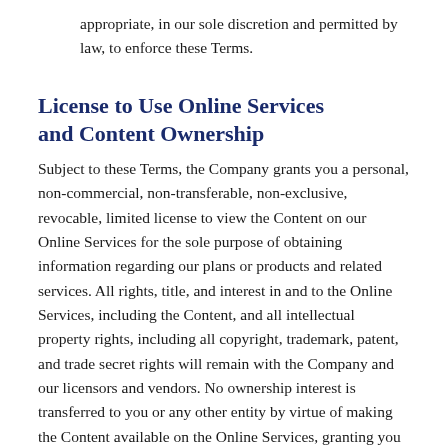appropriate, in our sole discretion and permitted by law, to enforce these Terms.
License to Use Online Services and Content Ownership
Subject to these Terms, the Company grants you a personal, non-commercial, non-transferable, non-exclusive, revocable, limited license to view the Content on our Online Services for the sole purpose of obtaining information regarding our plans or products and related services. All rights, title, and interest in and to the Online Services, including the Content, and all intellectual property rights, including all copyright, trademark, patent, and trade secret rights will remain with the Company and our licensors and vendors. No ownership interest is transferred to you or any other entity by virtue of making the Content available on the Online Services, granting you a license to use Online Service, or entering into this Agreement.